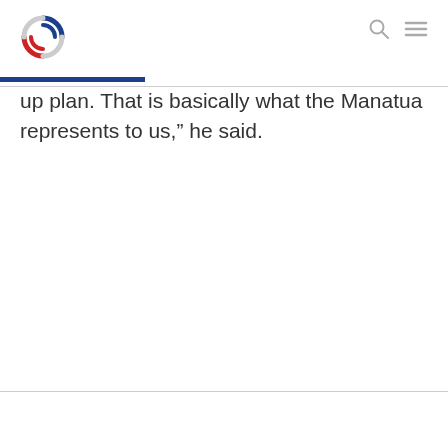[Logo and navigation header]
up plan. That is basically what the Manatua represents to us,” he said.